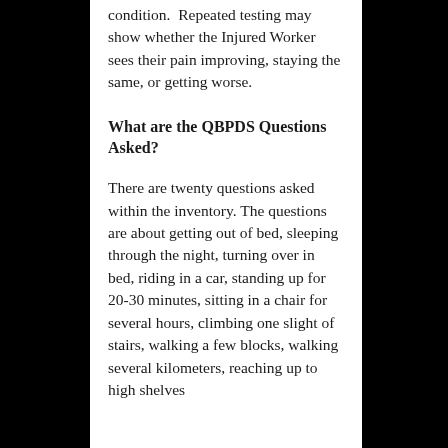condition.  Repeated testing may show whether the Injured Worker sees their pain improving, staying the same, or getting worse.
What are the QBPDS Questions Asked?
There are twenty questions asked within the inventory. The questions are about getting out of bed, sleeping through the night, turning over in bed, riding in a car, standing up for 20-30 minutes, sitting in a chair for several hours, climbing one slight of stairs, walking a few blocks, walking several kilometers, reaching up to high shelves